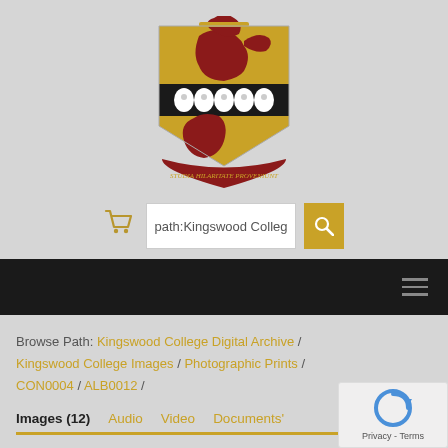[Figure (logo): Kingswood College crest/coat of arms: gold shield with red dragon, black band with white shells, red creature at bottom, red banner reading STUDIA HILARITATE PROVENIUNT, red dragon on top]
[Figure (screenshot): Search bar with shopping cart icon, text input showing 'path:Kingswood Colleg', and gold search button with magnifying glass icon]
[Figure (screenshot): Black navigation bar with hamburger menu icon on right]
Browse Path: Kingswood College Digital Archive / Kingswood College Images / Photographic Prints / CON0004 / ALB0012 /
Images (12)   Audio   Video   Documents'
[Figure (logo): Google reCAPTCHA widget with blue circular arrow icon and Privacy - Terms text]